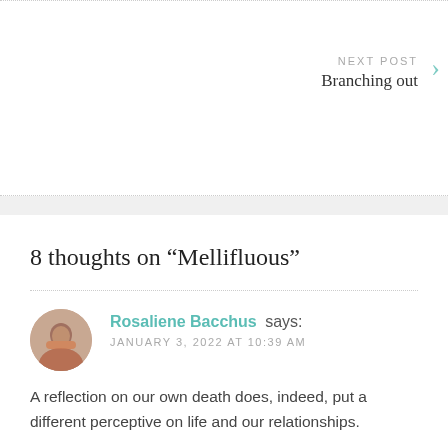NEXT POST
Branching out
8 thoughts on “Mellifluous”
Rosaliene Bacchus says:
JANUARY 3, 2022 AT 10:39 AM
A reflection on our own death does, indeed, put a different perceptive on life and our relationships.
Liked by 3 people